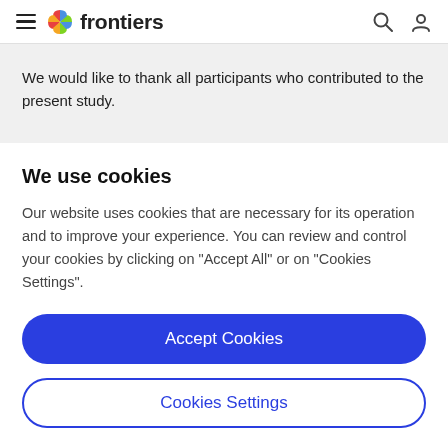frontiers
We would like to thank all participants who contributed to the present study.
We use cookies
Our website uses cookies that are necessary for its operation and to improve your experience. You can review and control your cookies by clicking on "Accept All" or on "Cookies Settings".
Accept Cookies
Cookies Settings